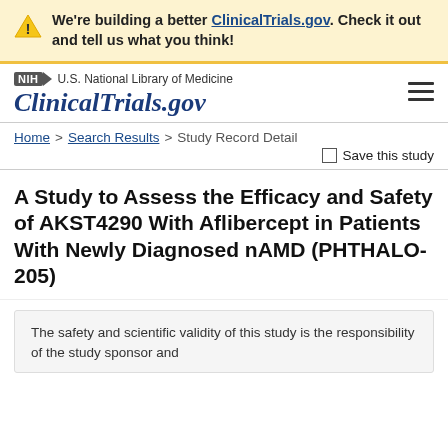We're building a better ClinicalTrials.gov. Check it out and tell us what you think!
NIH | U.S. National Library of Medicine | ClinicalTrials.gov
Home > Search Results > Study Record Detail
Save this study
A Study to Assess the Efficacy and Safety of AKST4290 With Aflibercept in Patients With Newly Diagnosed nAMD (PHTHALO-205)
The safety and scientific validity of this study is the responsibility of the study sponsor and